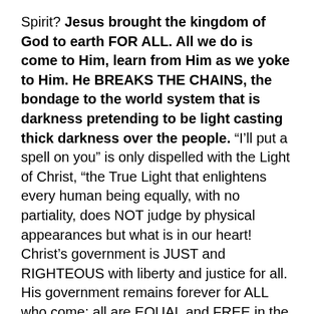Spirit? Jesus brought the kingdom of God to earth FOR ALL. All we do is come to Him, learn from Him as we yoke to Him. He BREAKS THE CHAINS, the bondage to the world system that is darkness pretending to be light casting thick darkness over the people. “I’ll put a spell on you” is only dispelled with the Light of Christ, “the True Light that enlightens every human being equally, with no partiality, does NOT judge by physical appearances but what is in our heart! Christ’s government is JUST and RIGHTEOUS with liberty and justice for all. His government remains forever for ALL who come; all are EQUAL and FREE in the Kingdom of the Son!
The ruling elites have done a SNOW JOB on the world; a con job; a polished PR job selling an old